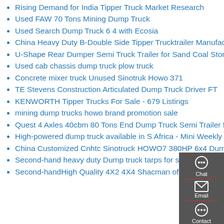Rising Demand for India Tipper Truck Market Research
Used FAW 70 Tons Mining Dump Truck
Used Search Dump Truck 6 4 with Ecosia
China Heavy Duty B-Double Side Tipper Trucktrailer Manufacturers
U-Shape Rear Dumper Semi Truck Trailer for Sand Coal Stone Mineral
Used cab chassis dump truck plow truck
Concrete mixer truck Unused Sinotruk Howo 371
TE Stevens Construction Articulated Dump Truck Driver FT
KENWORTH Tipper Trucks For Sale - 679 Listings
mining dump trucks howo brand promotion sale
Quest 4 Axles 40cbm 80 Tons End Dump Truck Semi Trailer for
High-powered dump truck available in S Africa - Mini Weekly
China Customized Cnhtc Sinotruck HOWO7 380HP 6x4 Dump
Second-hand heavy duty Dump truck tarps for sale - China
Second-handHigh Quality 4X2 4X4 Shacman off Road